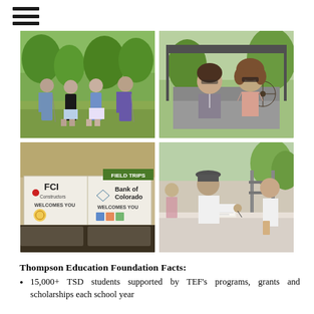Menu/Navigation hamburger icon
[Figure (photo): Four people (golfers) posing on a golf course with trees in background]
[Figure (photo): Two women smiling in a golf cart, one holding a steering wheel]
[Figure (photo): Banners for FCI Constructors and Bank of Colorado at a golf event with FIELD TRIPS text visible]
[Figure (photo): People at a registration/check-in table at an outdoor event, man signing paperwork]
Thompson Education Foundation Facts:
15,000+ TSD students supported by TEF's programs, grants and scholarships each school year